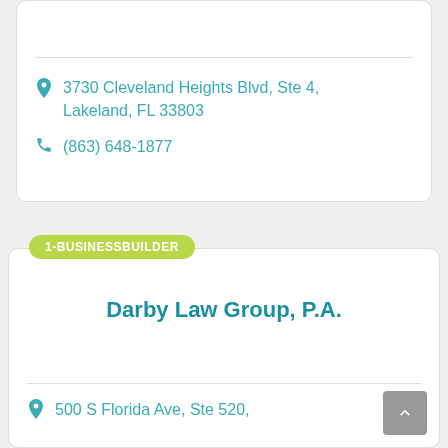3730 Cleveland Heights Blvd, Ste 4, Lakeland, FL 33803
(863) 648-1877
1-BUSINESSBUILDER
Darby Law Group, P.A.
500 S Florida Ave, Ste 520,